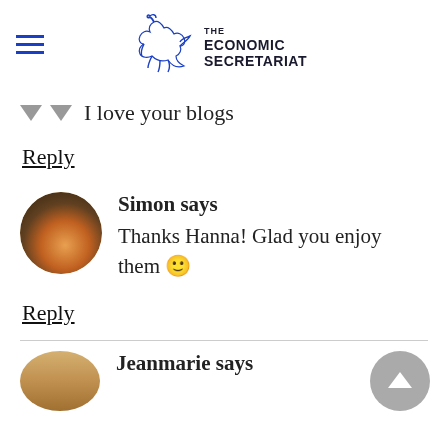THE ECONOMIC SECRETARIAT
I love your blogs
Reply
Simon says
Thanks Hanna! Glad you enjoy them 🙂
Reply
Jeanmarie says